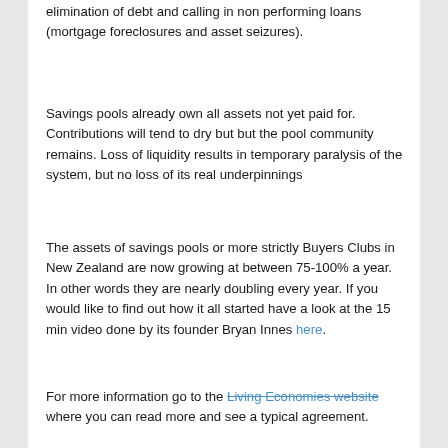elimination of debt and calling in non performing loans (mortgage foreclosures and asset seizures).
Savings pools already own all assets not yet paid for. Contributions will tend to dry but but the pool community remains. Loss of liquidity results in temporary paralysis of the system, but no loss of its real underpinnings
The assets of savings pools or more strictly Buyers Clubs in New Zealand are now growing at between 75-100% a year. In other words they are nearly doubling every year. If you would like to find out how it all started have a look at the 15 min video done by its founder Bryan Innes here.
For more information go to the Living Economies website where you can read more and see a typical agreement.
To start one in your area contact either Peter Luiten, Bryan Innes, Phil Stevens or Helen Dew. Or leave your information here